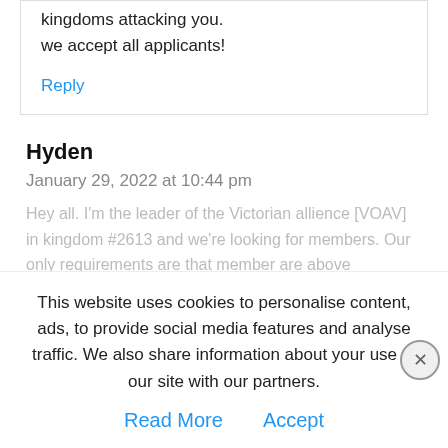kingdoms attacking you.
we accept all applicants!
Reply
Hyden
January 29, 2022 at 10:44 pm
Hey all. I'm the leader of the Victorian allience [VOAV] in kingdom #2613 and we're looking for members. Our only requirements are that member are above
This website uses cookies to personalise content, ads, to provide social media features and analyse traffic. We also share information about your use of our site with our partners.
Read More
Accept